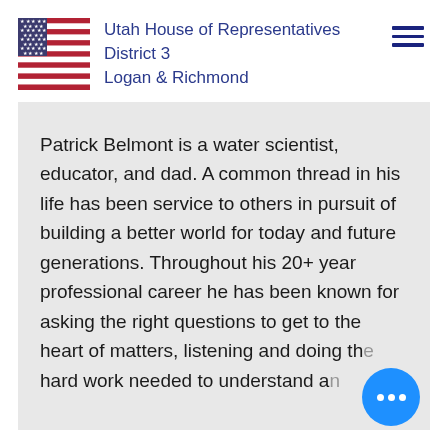Utah House of Representatives District 3 Logan & Richmond
Patrick Belmont is a water scientist, educator, and dad. A common thread in his life has been service to others in pursuit of building a better world for today and future generations. Throughout his 20+ year professional career he has been known for asking the right questions to get to the heart of matters, listening and doing the hard work needed to understand an